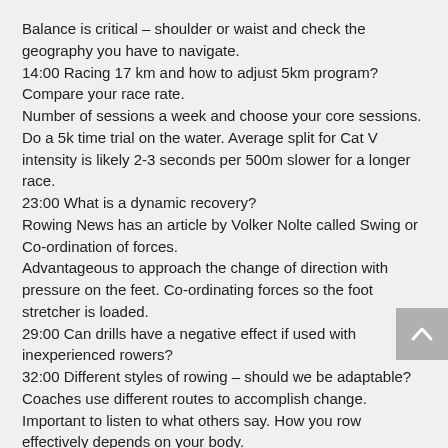Balance is critical – shoulder or waist and check the geography you have to navigate.
14:00 Racing 17 km and how to adjust 5km program?
Compare your race rate.
Number of sessions a week and choose your core sessions.
Do a 5k time trial on the water. Average split for Cat V intensity is likely 2-3 seconds per 500m slower for a longer race.
23:00 What is a dynamic recovery?
Rowing News has an article by Volker Nolte called Swing or Co-ordination of forces.
Advantageous to approach the change of direction with pressure on the feet. Co-ordinating forces so the foot stretcher is loaded.
29:00 Can drills have a negative effect if used with inexperienced rowers?
32:00 Different styles of rowing – should we be adaptable? Coaches use different routes to accomplish change. Important to listen to what others say. How you row effectively depends on your body.